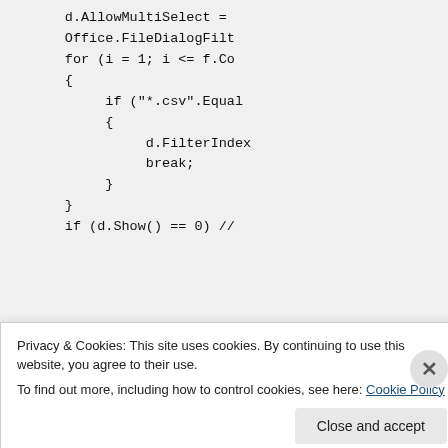d.AllowMultiSelect =
Office.FileDialogFilt
for (i = 1; i <= f.Co
{
    if ("*.csv".Equal
    {
        d.FilterIndex
        break;
    }
}
if (d.Show() == 0) //
Privacy & Cookies: This site uses cookies. By continuing to use this website, you agree to their use.
To find out more, including how to control cookies, see here: Cookie Policy